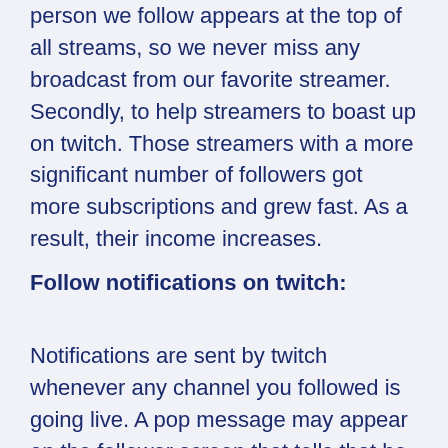person we follow appears at the top of all streams, so we never miss any broadcast from our favorite streamer. Secondly, to help streamers to boast up on twitch. Those streamers with a more significant number of followers got more subscriptions and grew fast. As a result, their income increases.
Follow notifications on twitch:
Notifications are sent by twitch whenever any channel you followed is going live. A pop message may appear on the follower screen that tells that he is going live and the content about which the broadcast will be and direct the follower to that channel